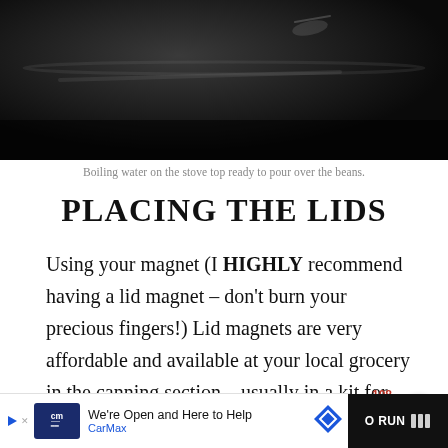[Figure (photo): Dark close-up photo of boiling water on a stove top, ready to pour over beans. Dark background with subtle steam/water highlights visible.]
Boiling water on the stove top ready to pour over the beans.
PLACING THE LIDS
Using your magnet (I HIGHLY recommend having a lid magnet – don't burn your precious fingers!) Lid magnets are very affordable and available at your local grocery in the canning section – usually in a kit for canning (see link below) , lift the lids from the hot water, place on the jar and then place the screw band and tighten to fingertip tight. Be careful not to touch the sealing area of the lid